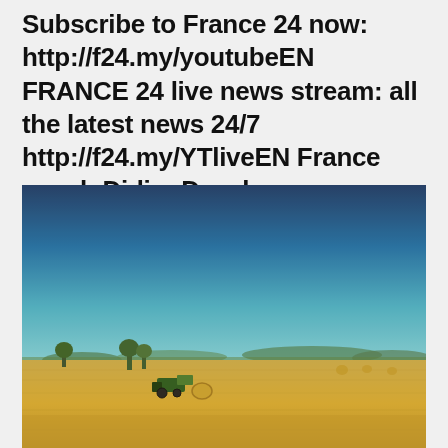Subscribe to France 24 now: http://f24.my/youtubeEN FRANCE 24 live news stream: all the latest news 24/7 http://f24.my/YTliveEN France coach Didier Deschamps
[Figure (photo): A wide open agricultural field under a bright blue sky. The field is golden/wheat-colored, stretching to the horizon. In the middle distance there is farm machinery (a tractor) and hay bales, with sparse trees and low hills visible in the background. The image has a warm, slightly vintage tone.]